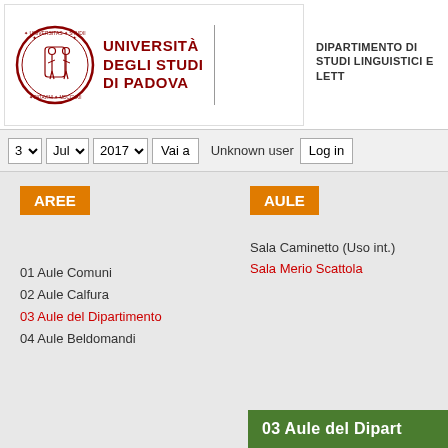[Figure (logo): Università degli Studi di Padova seal/logo in red circle with figures]
UNIVERSITÀ DEGLI STUDI DI PADOVA
DIPARTIMENTO DI STUDI LINGUISTICI E LETT...
[Figure (screenshot): Navigation bar with date selectors: 3, Jul, 2017, Vai a button, Unknown user, Log in button]
AREE
AULE
Sala Caminetto (Uso int.)
Sala Merio Scattola
01 Aule Comuni
02 Aule Calfura
03 Aule del Dipartimento
04 Aule Beldomandi
03 Aule del Dipart...